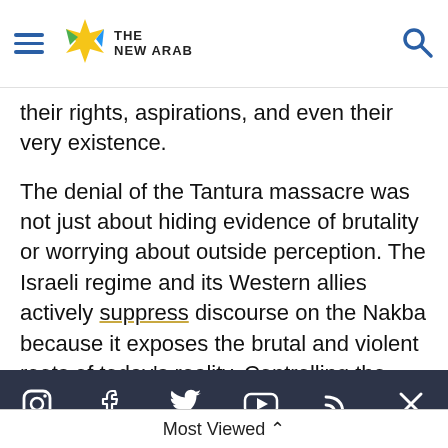The New Arab
their rights, aspirations, and even their very existence.
The denial of the Tantura massacre was not just about hiding evidence of brutality or worrying about outside perception. The Israeli regime and its Western allies actively suppress discourse on the Nakba because it exposes the brutal and violent roots of today's reality. Controlling the narrative has
inception.
Jehad Abusalim جهاد أبو سليم @JehadAbusalim · Follow
Most Viewed ^